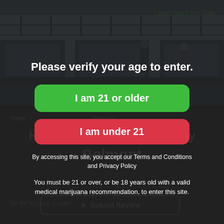Legal Weed For Sale
[Figure (photo): Interior of a cannabis dispensary with display cases and shelving, dimmed/blurred behind overlay]
Please verify your age to enter.
I am 21 or older
I am under 21
By accessing this site, you accept our Terms and Conditions and Privacy Policy
You must be 21 or over, or be 18 years old with a valid medical marijuana recommendation, to enter this site.
HAVEN Cannabis Dispensary
Belmont
Be the first one to rate!
★  Submit Review